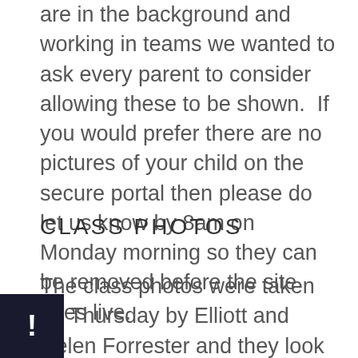are in the background and working in teams we wanted to ask every parent to consider allowing these to be shown.  If you would prefer there are no pictures of your child on the secure portal then please do let us know by 8am on Monday morning so they can be removed before the site goes live.
CLASS PHOTOS
The class photos were taken on Thursday by Elliott and Helen Forrester and they look amazing!  Unlike in previous years, there are both formal and informal pictures and a number of group frames. They are now available to order